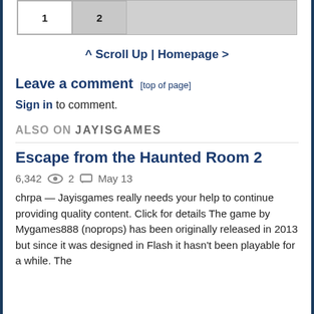[Figure (other): Pagination bar with tabs labeled 1 and 2]
^ Scroll Up | Homepage >
Leave a comment [top of page]
Sign in to comment.
ALSO ON JAYISGAMES
Escape from the Haunted Room 2
6,342  2  May 13
chrpa — Jayisgames really needs your help to continue providing quality content. Click for details The game by Mygames888 (noprops) has been originally released in 2013 but since it was designed in Flash it hasn't been playable for a while. The